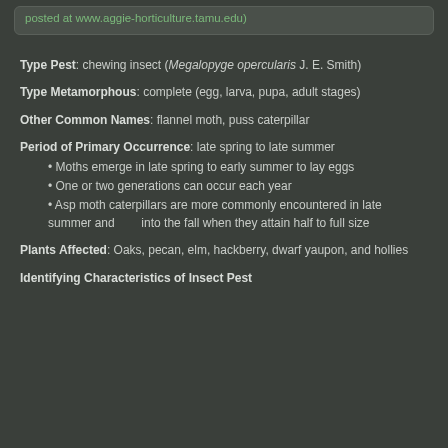posted at www.aggie-horticulture.tamu.edu)
Type Pest: chewing insect (Megalopyge opercularis J. E. Smith)
Type Metamorphous: complete (egg, larva, pupa, adult stages)
Other Common Names: flannel moth, puss caterpillar
Period of Primary Occurrence: late spring to late summer
Moths emerge in late spring to early summer to lay eggs
One or two generations can occur each year
Asp moth caterpillars are more commonly encountered in late summer and into the fall when they attain half to full size
Plants Affected: Oaks, pecan, elm, hackberry, dwarf yaupon, and hollies
Identifying Characteristics of Insect Pest